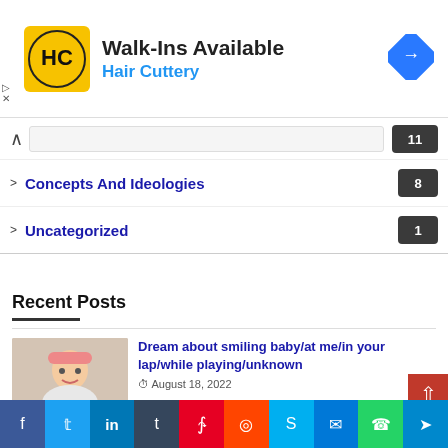[Figure (logo): Hair Cuttery advertisement banner with HC logo, Walk-Ins Available text, blue Hair Cuttery subtitle, and navigation arrow icon]
bols definition  11
Concepts And Ideologies  8
Uncategorized  1
Recent Posts
[Figure (photo): Photo of smiling baby wearing a pink hat]
Dream about smiling baby/at me/in your lap/while playing/unknown
August 18, 2022
[Figure (photo): Partial photo of sleeping baby]
Sleeping baby dream meaning/putting
[Figure (screenshot): Social media share bar with Facebook, Twitter, LinkedIn, Tumblr, Pinterest, Reddit, Skype, Messenger, WhatsApp, Telegram buttons]